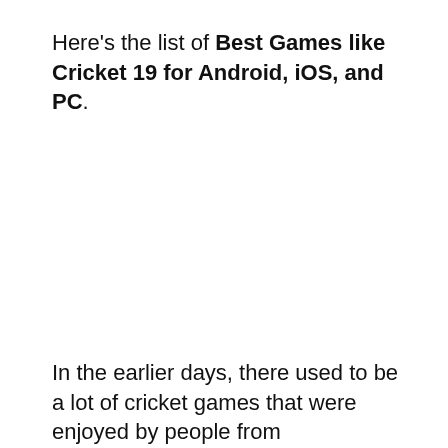Here's the list of Best Games like Cricket 19 for Android, iOS, and PC.
In the earlier days, there used to be a lot of cricket games that were enjoyed by people from India, England, and Australia. One of the best...